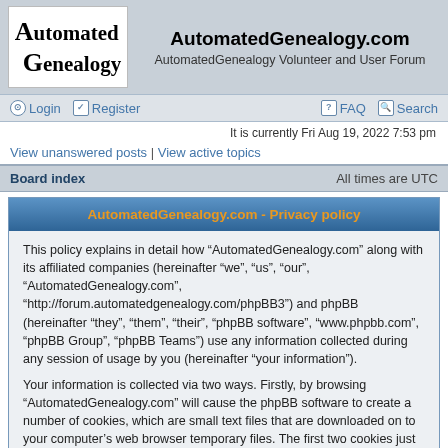[Figure (logo): AutomatedGenealogy logo with stylized A and G letters in serif font]
AutomatedGenealogy.com
AutomatedGenealogy Volunteer and User Forum
Login | Register | FAQ | Search
It is currently Fri Aug 19, 2022 7:53 pm
View unanswered posts | View active topics
Board index    All times are UTC
AutomatedGenealogy.com - Privacy policy
This policy explains in detail how “AutomatedGenealogy.com” along with its affiliated companies (hereinafter “we”, “us”, “our”, “AutomatedGenealogy.com”, “http://forum.automatedgenealogy.com/phpBB3”) and phpBB (hereinafter “they”, “them”, “their”, “phpBB software”, “www.phpbb.com”, “phpBB Group”, “phpBB Teams”) use any information collected during any session of usage by you (hereinafter “your information”).
Your information is collected via two ways. Firstly, by browsing “AutomatedGenealogy.com” will cause the phpBB software to create a number of cookies, which are small text files that are downloaded on to your computer’s web browser temporary files. The first two cookies just contain a user identifier (hereinafter “user id”) and an